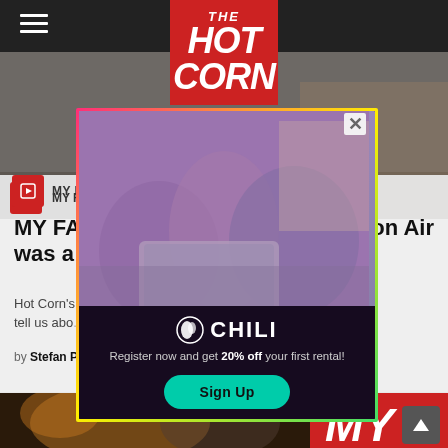THE HOT CORN
[Figure (screenshot): Website screenshot of The Hot Corn film website with a CHILI streaming service ad overlay. The page shows an article about 'My Favourite Film' with text partially obscured by the CHILI popup advertisement. The ad features a family watching on a laptop with text: Register now and get 20% off your first rental! and a Sign Up button. Bottom shows a partial image of a person with 'MY' text visible.]
MY FAVOURITE FILM
MY FAVOU... on Air was a gre...
Hot Corn's ...directors tell us abo...
by Stefan P...
CHILI
Register now and get 20% off your first rental!
Sign Up